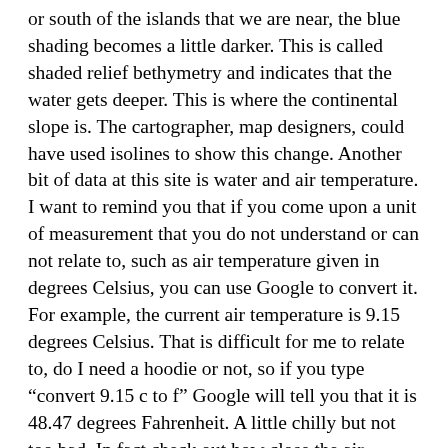or south of the islands that we are near, the blue shading becomes a little darker. This is called shaded relief bethymetry and indicates that the water gets deeper. This is where the continental slope is. The cartographer, map designers, could have used isolines to show this change. Another bit of data at this site is water and air temperature. I want to remind you that if you come upon a unit of measurement that you do not understand or can not relate to, such as air temperature given in degrees Celsius, you can use Google to convert it. For example, the current air temperature is 9.15 degrees Celsius. That is difficult for me to relate to, do I need a hoodie or not, so if you type "convert 9.15 c to f" Google will tell you that it is 48.47 degrees Fahrenheit. A little chilly but not too bad. In fact check out how close the air temperature is to the water temperature. Also, putting "define" before a word in Google will define a word that you may not understand. While reading this or looking at one of the other data pages, when you come across the